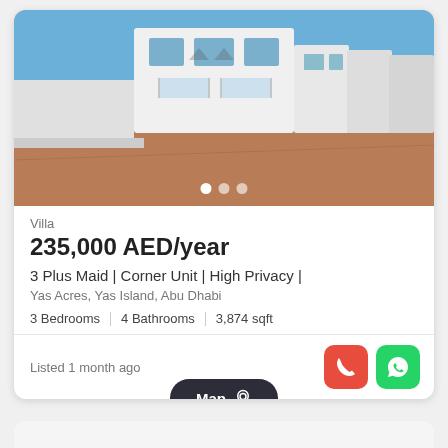[Figure (photo): Exterior photo of a modern white villa with multiple floors, balconies, and a sandy/dirt front yard. Blue sky visible. Row of similar white townhouses extends to the right.]
Villa
235,000 AED/year
3 Plus Maid | Corner Unit | High Privacy |
Yas Acres, Yas Island, Abu Dhabi
3 Bedrooms | 4 Bathrooms | 3,874 sqft
Listed 1 month ago
Map
SUPERAGENT